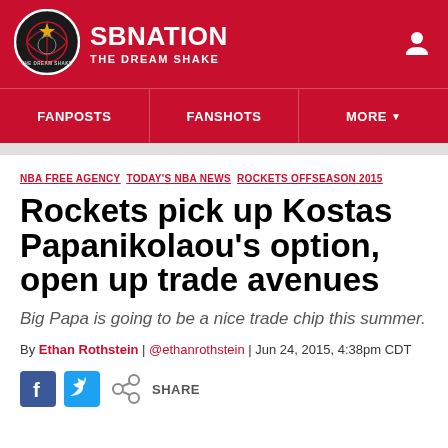SB NATION / THE DREAM SHAKE
[Figure (logo): SB Nation The Dream Shake logo - circular emblem with basketball and star graphic on dark background]
FANPOSTS  FANSHOTS  MORE
NBA FREE AGENCY  TODAY'S NBA NEWS  ROCKETS OFFSEASON 2015
Rockets pick up Kostas Papanikolaou's option, open up trade avenues
Big Papa is going to be a nice trade chip this summer.
By Ethan Rothstein | @ethanrothstein | Jun 24, 2015, 4:38pm CDT
SHARE